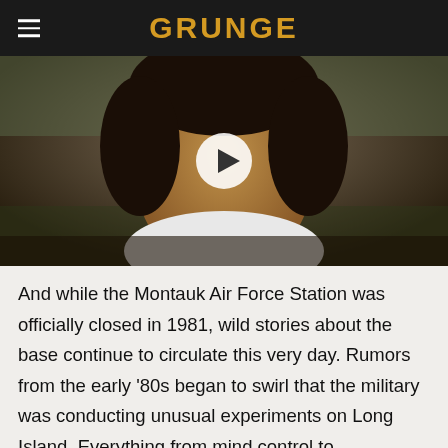GRUNGE
[Figure (photo): Video thumbnail of a man with curly dark hair, smiling, wearing a white hoodie, outdoors. A white play button circle is overlaid in the center.]
And while the Montauk Air Force Station was officially closed in 1981, wild stories about the base continue to circulate this very day. Rumors from the early '80s began to swirl that the military was conducting unusual experiments on Long Island. Everything from mind control to teleportation was supposedly being conducted at Camp Hero and/or the Montauk Air Force Station (via